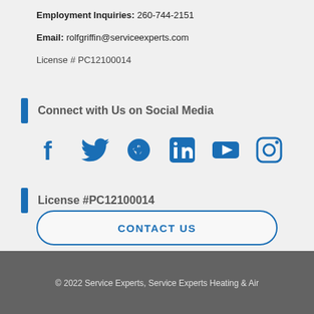Employment Inquiries: 260-744-2151
Email: rolfgriffin@serviceexperts.com
License # PC12100014
Connect with Us on Social Media
[Figure (other): Social media icons: Facebook, Twitter, Yelp, LinkedIn, YouTube, Instagram]
License #PC12100014
CONTACT US
© 2022 Service Experts, Service Experts Heating & Air